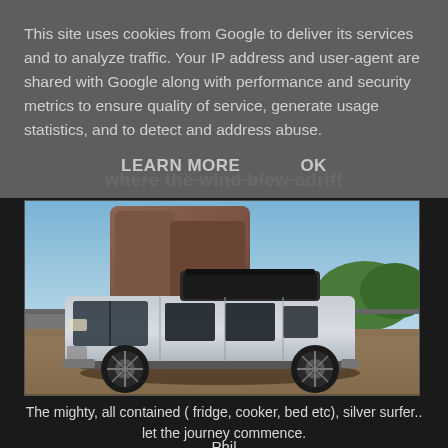This site uses cookies from Google to deliver its services and to analyze traffic. Your IP address and user-agent are shared with Google along with performance and security metrics to ensure quality of service, generate usage statistics, and to detect and address abuse.
LEARN MORE    OK
where the wind blew adrift
[Figure (photo): A silver VW Transporter camper van with a pop-up roof, parked on gravel in front of rocky cliffs and green trees under a blue sky.]
The mighty, all contained ( fridge, cooker, bed etc), silver surfer..  let the journey commence.
Phil